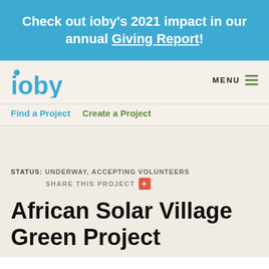Check out ioby's 2021 impact in our annual Giving Report!
[Figure (logo): ioby logo in blue with dot on i, navigation menu icon]
Find a Project   Create a Project
STATUS: UNDERWAY, ACCEPTING VOLUNTEERS
SHARE THIS PROJECT +
African Solar Village Green Project